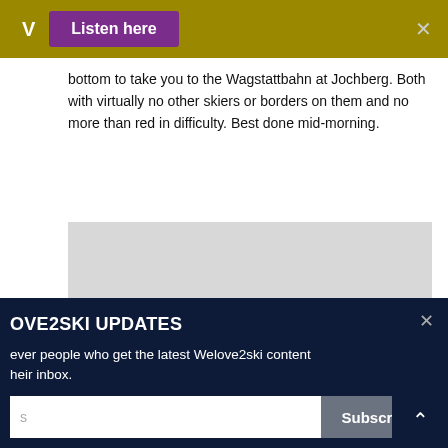V  Listen here  ×
bottom to take you to the Wagstattbahn at Jochberg. Both with virtually no other skiers or borders on them and no more than red in difficulty. Best done mid-morning.
[Figure (photo): Gray placeholder image block]
OVE2SKI UPDATES
ever people who get the latest Welove2ski content heir inbox.
s  Subscribe
your information with anyone.
Have also loved the run down from the Nosslachjoch at 2200m via the Manni Pranger Abfahrt down to the base station at 1100m at the little known and very quiet Bergeralm ski area at Steinach am Brenner.